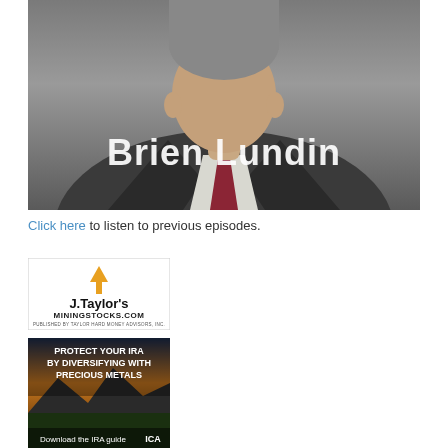[Figure (photo): Headshot photo of Brien Lundin, a man in a dark suit with a striped tie, with his name overlaid in large white text]
Click here to listen to previous episodes.
[Figure (logo): J. Taylor's MininingStocks.com logo — Published by Taylor Hard Money Advisors, Inc.]
[Figure (illustration): Advertisement: Protect Your IRA By Diversifying With Precious Metals — Download the IRA guide ICA]